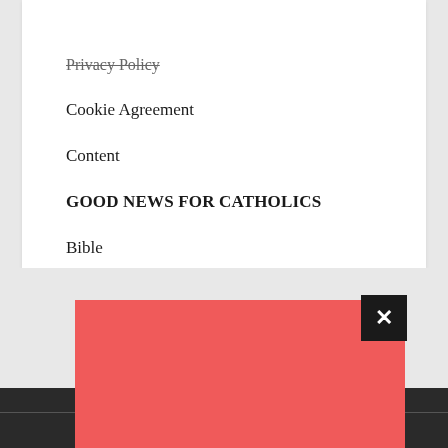Privacy Policy
Cookie Agreement
Content
GOOD NEWS FOR CATHOLICS
Bible
[Figure (other): Red modal/popup box with a black close (X) button in the top-right corner, overlapping a dark footer bar and gray background area]